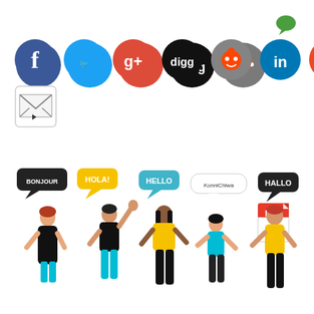[Figure (illustration): Green speech bubble / comment icon in the upper right corner]
[Figure (illustration): Row of social media icon circles: Facebook (blue f), Twitter (blue bird), Google+ (red/orange g+), Digg (black digg), Reddit (grey alien), LinkedIn (blue in), StumbleUpon (orange su), Tumblr (dark blue t), Pinterest (red P). Below them a single email/envelope icon.]
[Figure (illustration): PDF document icon in lower right area]
[Figure (illustration): Flat style illustration of five diverse people greeting each other in different languages. Speech bubbles show: BONJOUR (dark), HOLA! (yellow), HELLO (teal), KonniChiwa (white rounded), HALLO (dark). Characters include a red-haired woman in black dress, a man in black t-shirt and teal pants waving, a woman in yellow top with black pants and long dark hair, a shorter woman in teal top, and a man in yellow top and black pants with red hair.]